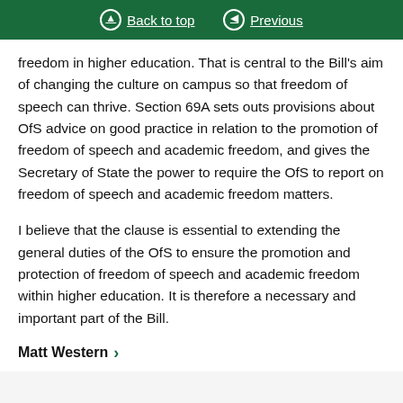Back to top | Previous
freedom in higher education. That is central to the Bill's aim of changing the culture on campus so that freedom of speech can thrive. Section 69A sets outs provisions about OfS advice on good practice in relation to the promotion of freedom of speech and academic freedom, and gives the Secretary of State the power to require the OfS to report on freedom of speech and academic freedom matters.
I believe that the clause is essential to extending the general duties of the OfS to ensure the promotion and protection of freedom of speech and academic freedom within higher education. It is therefore a necessary and important part of the Bill.
Matt Western →